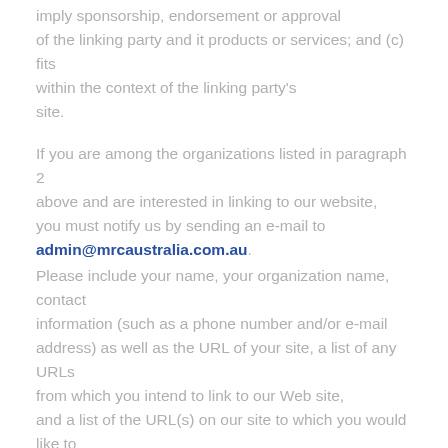imply sponsorship, endorsement or approval of the linking party and it products or services; and (c) fits within the context of the linking party's site.
If you are among the organizations listed in paragraph 2 above and are interested in linking to our website, you must notify us by sending an e-mail to admin@mrcaustralia.com.au.
Please include your name, your organization name, contact information (such as a phone number and/or e-mail address) as well as the URL of your site, a list of any URLs from which you intend to link to our Web site, and a list of the URL(s) on our site to which you would like to link. Allow 2-3 weeks for a response.
Approved organizations may hyperlink to our Web site as follows: